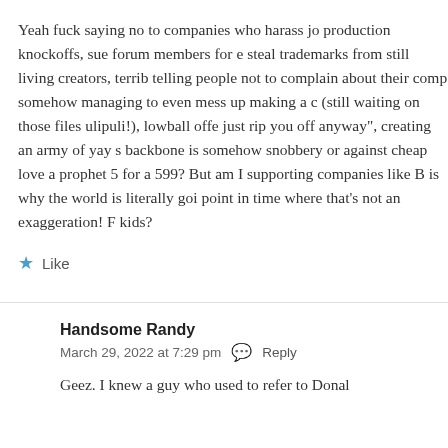Yeah fuck saying no to companies who harass jo production knockoffs, sue forum members for e steal trademarks from still living creators, terrib telling people not to complain about their comp somehow managing to even mess up making a c (still waiting on those files ulipuli!), lowball offe just rip you off anyway", creating an army of yay s backbone is somehow snobbery or against cheap love a prophet 5 for a 599? But am I supporting companies like B is why the world is literally goi point in time where that's not an exaggeration! F kids?
Like
Handsome Randy
March 29, 2022 at 7:29 pm  Reply
Geez. I knew a guy who used to refer to Donal